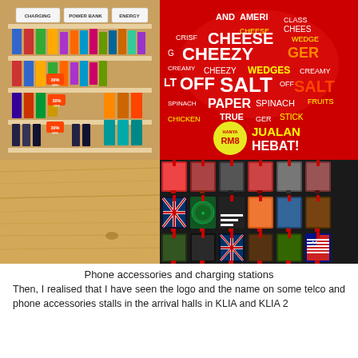[Figure (photo): A collage of four photos: top-left shows a retail shelf display of phone accessories (charging, power bank, energy products) with colorful packaging; top-right shows a red decorative ball covered in snack-flavor text words and a circular 'HANYA RM8 JUALAN HEBAT!' sticker, with phone cases displayed below; bottom-left shows a close-up of a wooden table surface; bottom-right shows racks of phone cases with various designs including flag patterns and decorative prints.]
Phone accessories and charging stations
Then, I realised that I have seen the logo and the name on some telco and phone accessories stalls in the arrival halls in KLIA and KLIA 2